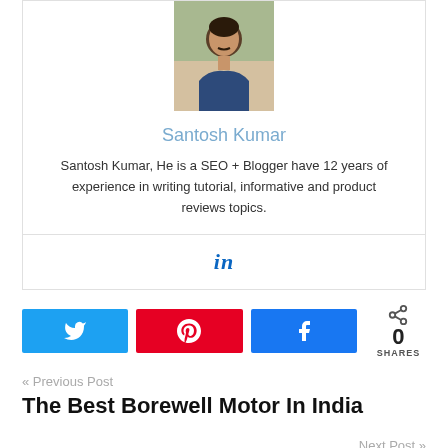[Figure (photo): Author profile photo of Santosh Kumar, a man in a blue t-shirt]
Santosh Kumar
Santosh Kumar, He is a SEO + Blogger have 12 years of experience in writing tutorial, informative and product reviews topics.
[Figure (logo): LinkedIn icon]
[Figure (infographic): Social share buttons: Twitter, Pinterest, Facebook, and share count showing 0 SHARES]
« Previous Post
The Best Borewell Motor In India
Next Post »